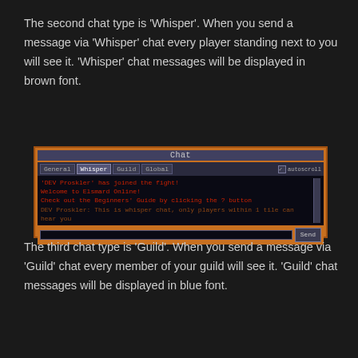The second chat type is ‘Whisper’.  When you send a message via ‘Whisper’ chat every player standing next to you will see it.  ‘Whisper’ chat messages will be displayed in brown font.
[Figure (screenshot): Chat window UI screenshot showing tabs: General, Whisper, Guild, Global; autoscroll checkbox; chat messages in red font including system messages and a whisper message; text input box and Send button]
The third chat type is ‘Guild’.  When you send a message via ‘Guild’ chat every member of your guild will see it.  ‘Guild’ chat messages will be displayed in blue font.